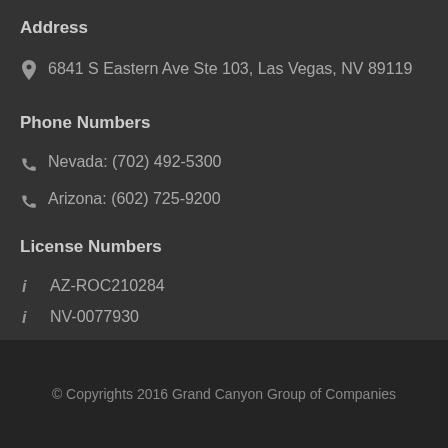Address
6841 S Eastern Ave Ste 103, Las Vegas, NV 89119
Phone Numbers
Nevada: (702) 492-5300
Arizona: (602) 725-9200
License Numbers
AZ-ROC210284
NV-0077930
© Copyrights 2016 Grand Canyon Group of Companies